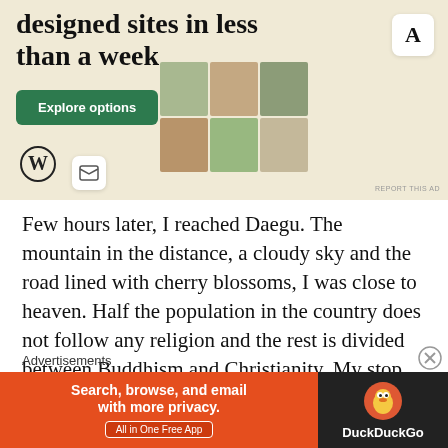[Figure (illustration): WordPress advertisement banner with beige/cream background showing text 'designed sites in less than a week', a green 'Explore options' button, WordPress logo, and phone mockups showing website templates with food images and an 'A' card icon]
Few hours later, I reached Daegu. The mountain in the distance, a cloudy sky and the road lined with cherry blossoms, I was close to heaven. Half the population in the country does not follow any religion and the rest is divided between Buddhism and Christianity. My stop was Donghwasa or Donghwa Temple of the Joye Order
Advertisements
[Figure (illustration): DuckDuckGo advertisement banner with orange left section saying 'Search, browse, and email with more privacy. All in One Free App' and dark right section with DuckDuckGo duck logo and brand name]